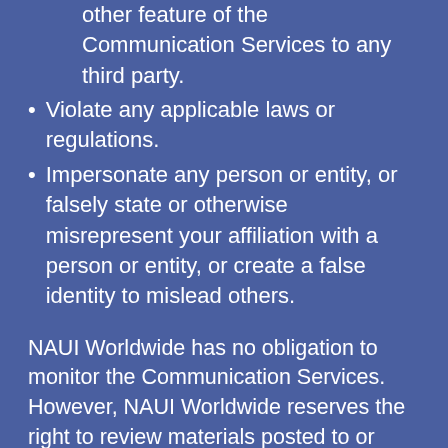other feature of the Communication Services to any third party.
Violate any applicable laws or regulations.
Impersonate any person or entity, or falsely state or otherwise misrepresent your affiliation with a person or entity, or create a false identity to mislead others.
NAUI Worldwide has no obligation to monitor the Communication Services. However, NAUI Worldwide reserves the right to review materials posted to or sent through a Communication Service and to remove any materials in its sole discretion. NAUI Worldwide further reserves the right to terminate your access to any or all of the Communication Services and this site at any time, without notice, for any reason whatsoever.